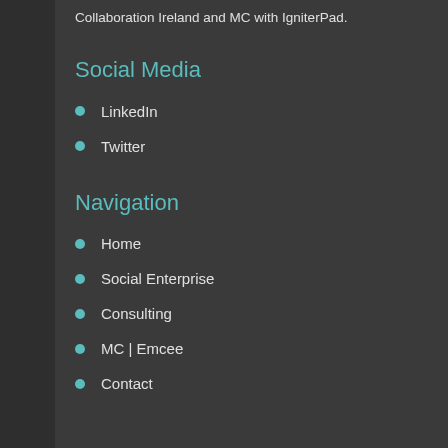Collaboration Ireland and MC with IgniterPad.
Social Media
LinkedIn
Twitter
Navigation
Home
Social Enterprise
Consulting
MC | Emcee
Contact